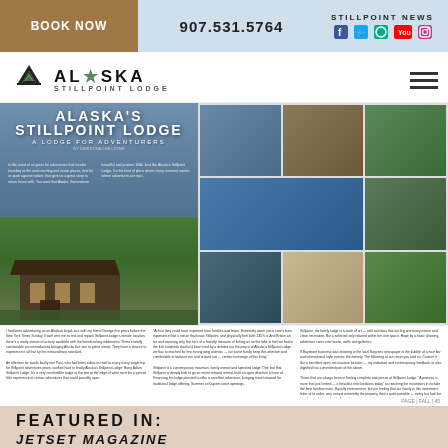BOOK NOW | 907.531.5764 | STILLPOINT NEWS
[Figure (logo): Alaska Stillpoint Lodge logo with mountain silhouette]
[Figure (photo): Magazine spread showing Alaska's Stillpoint Lodge article with lodge building photo, title 'ALASKA'S STILLPOINT LODGE - A LODGE FOR ADVENTURERS']
[Figure (photo): Grid of 9 photos showing Alaska scenery, wildlife, food, paddle boarding, and lodge views]
Article text about Alaska Stillpoint Lodge adventures
FEATURED IN:
JETSET MAGAZINE